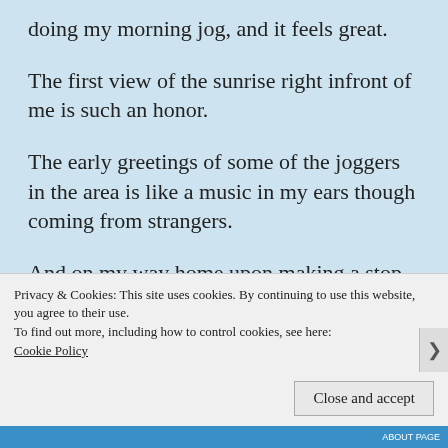doing my morning jog, and it feels great.
The first view of the sunrise right infront of me is such an honor.
The early greetings of some of the joggers in the area is like a music in my ears though coming from strangers.
And on my way home upon making a stop in the bakery, the smile of the baker while giving
Privacy & Cookies: This site uses cookies. By continuing to use this website, you agree to their use.
To find out more, including how to control cookies, see here: Cookie Policy
Close and accept